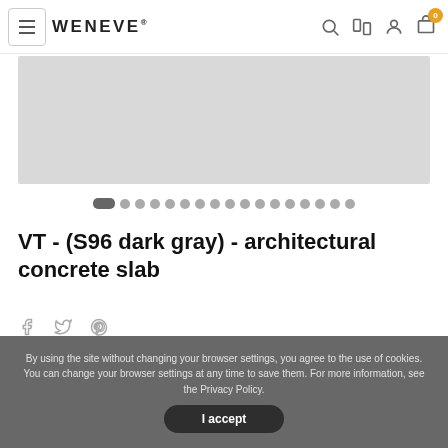WENEVE
[Figure (photo): Product image area - light gray placeholder rectangle showing architectural concrete slab product]
[Figure (other): Carousel navigation dots - one active pill-shaped dot followed by 16 circular dots]
VT - (S96 dark gray) - architectural concrete slab
[Figure (other): Social sharing icons: Facebook, Twitter, Pinterest]
By using the site without changing your browser settings, you agree to the use of cookies. You can change your browser settings at any time to save them. For more information, see the Privacy Policy.
I accept